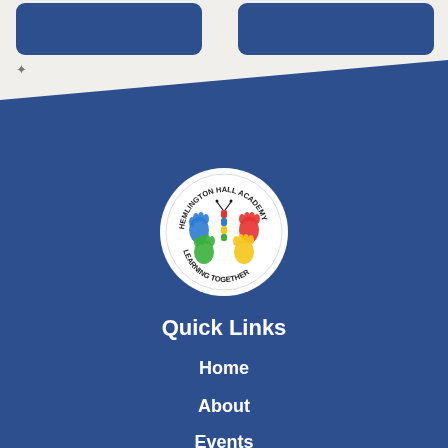[Figure (logo): Hemlington Hall Academy circular logo with colorful handprints and butterfly, text reads HEMLINGTON HALL ACADEMY LEARNING TOGETHER]
Quick Links
Home
About
Events (partially visible)